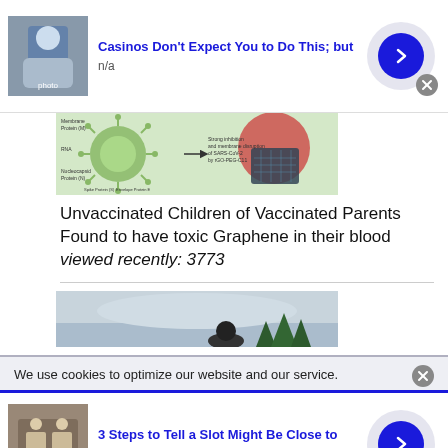[Figure (photo): Ad banner with person in blue shirt, title 'Casinos Don't Expect You to Do This; but', subtitle 'n/a', blue arrow button]
Casinos Don't Expect You to Do This; but
n/a
[Figure (infographic): Scientific diagram of virus/graphene with labels]
Unvaccinated Children of Vaccinated Parents Found to have toxic Graphene in their blood viewed recently: 3773
[Figure (photo): Outdoor winter scene with person and trees]
We use cookies to optimize our website and our service.
[Figure (photo): Ad banner with person at slot machine, title '3 Steps to Tell a Slot Might Be Close to', subtitle 'n/a', blue arrow button]